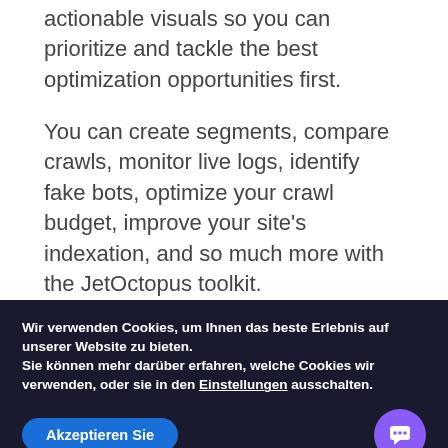actionable visuals so you can prioritize and tackle the best optimization opportunities first.
You can create segments, compare crawls, monitor live logs, identify fake bots, optimize your crawl budget, improve your site's indexation, and so much more with the JetOctopus toolkit.
Most important JetOctopus features:
Crawler (with speeds at up to 250 pages per second)
Wir verwenden Cookies, um Ihnen das beste Erlebnis auf unserer Website zu bieten.
Sie können mehr darüber erfahren, welche Cookies wir verwenden, oder sie in den Einstellungen ausschalten.
Akzeptieren Sie